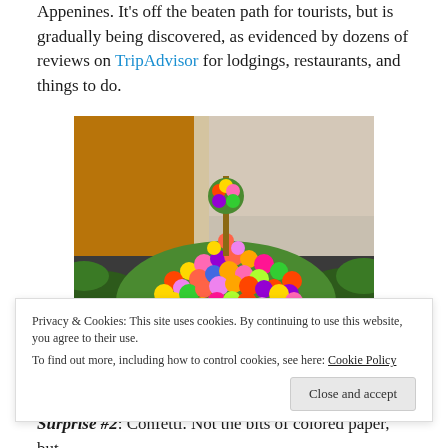Appenines. It's off the beaten path for tourists, but is gradually being discovered, as evidenced by dozens of reviews on TripAdvisor for lodgings, restaurants, and things to do.
[Figure (photo): A large decorative arrangement of colorful artificial flowers (red, yellow, pink, purple, orange, blue, green) displayed outdoors near a building entrance with ferns around it.]
Privacy & Cookies: This site uses cookies. By continuing to use this website, you agree to their use. To find out more, including how to control cookies, see here: Cookie Policy
Close and accept
Surprise #2: Confetti. Not the bits of colored paper, but